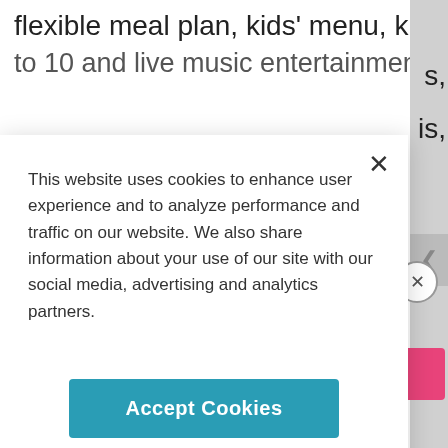flexible meal plan, kids’ menu, kids’ club for ages 4
s,
is,
This website uses cookies to enhance user experience and to analyze performance and traffic on our website. We also share information about your use of our site with our social media, advertising and analytics partners.
Accept Cookies
Cookie Preferences
Sign Up
ADVERTISEMENT
By proceeding, you agree to our Privacy Policy and Terms of Use.